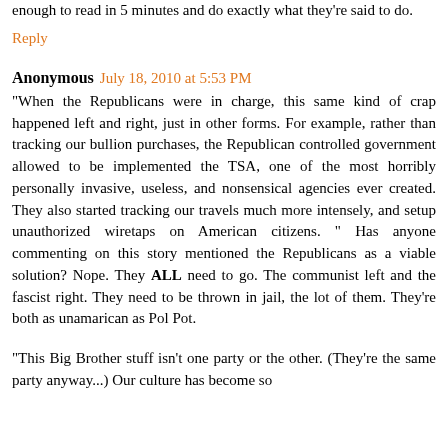enough to read in 5 minutes and do exactly what they're said to do.
Reply
Anonymous July 18, 2010 at 5:53 PM
"When the Republicans were in charge, this same kind of crap happened left and right, just in other forms. For example, rather than tracking our bullion purchases, the Republican controlled government allowed to be implemented the TSA, one of the most horribly personally invasive, useless, and nonsensical agencies ever created. They also started tracking our travels much more intensely, and setup unauthorized wiretaps on American citizens. " Has anyone commenting on this story mentioned the Republicans as a viable solution? Nope. They ALL need to go. The communist left and the fascist right. They need to be thrown in jail, the lot of them. They're both as unamarican as Pol Pot.
"This Big Brother stuff isn't one party or the other. (They're the same party anyway...) Our culture has become so